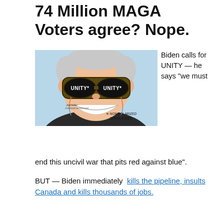74 Million MAGA Voters agree? Nope.
[Figure (illustration): Political cartoon by Joe Heller showing a caricature of Biden wearing aviator sunglasses with 'UNITY*' written on each lens, grinning broadly. A footnote annotation reads '* NON-POLARIZED SUNGLASSES'.]
Biden calls for UNITY — he says "we must end this uncivil war that pits red against blue". BUT — Biden immediately kills the pipeline, insults Canada and kills thousands of jobs.